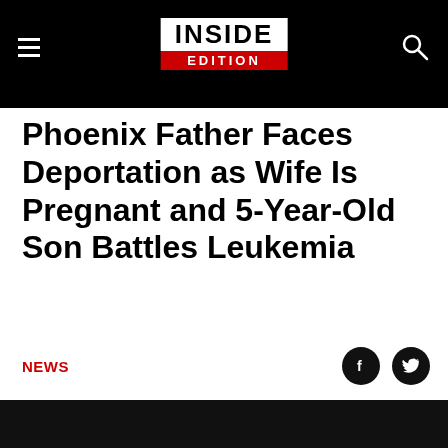Inside Edition
Phoenix Father Faces Deportation as Wife Is Pregnant and 5-Year-Old Son Battles Leukemia
NEWS
[Figure (other): Video player with dark background and play button]